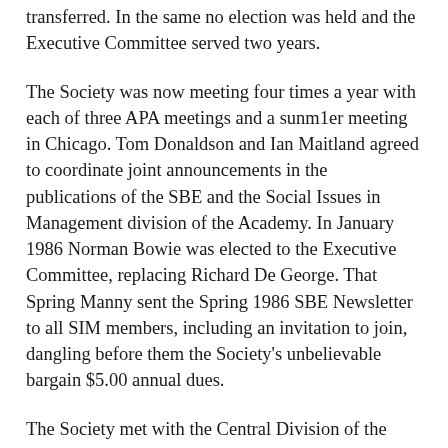transferred. In the same no election was held and the Executive Committee served two years.
The Society was now meeting four times a year with each of three APA meetings and a sunm1er meeting in Chicago. Tom Donaldson and Ian Maitland agreed to coordinate joint announcements in the publications of the SBE and the Social Issues in Management division of the Academy. In January 1986 Norman Bowie was elected to the Executive Committee, replacing Richard De George. That Spring Manny sent the Spring 1986 SBE Newsletter to all SIM members, including an invitation to join, dangling before them the Society's unbelievable bargain $5.00 annual dues.
The Society met with the Central Division of the APA in Saint Louis, and with the Eastern Division in Boston in December. It also met in August of 1986 for its then annual Chicago Conference on Business Ethics, this time, for the first time, in conjunction with the meeting of the Social Issues in